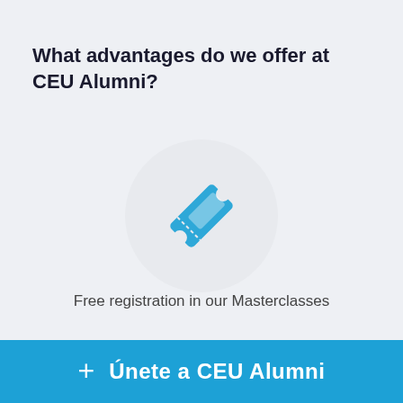What advantages do we offer at CEU Alumni?
[Figure (illustration): Blue ticket/pass icon centered inside a light gray circle]
Free registration in our Masterclasses
+ Únete a CEU Alumni